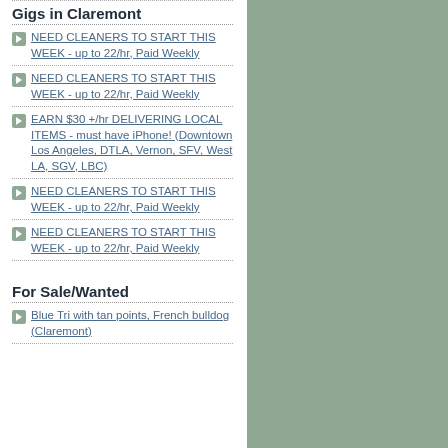Gigs in Claremont
NEED CLEANERS TO START THIS WEEK - up to 22/hr, Paid Weekly
NEED CLEANERS TO START THIS WEEK - up to 22/hr, Paid Weekly
EARN $30 +/hr DELIVERING LOCAL ITEMS - must have iPhone! (Downtown Los Angeles, DTLA, Vernon, SFV, West LA, SGV, LBC)
NEED CLEANERS TO START THIS WEEK - up to 22/hr, Paid Weekly
NEED CLEANERS TO START THIS WEEK - up to 22/hr, Paid Weekly
For Sale/Wanted
Blue Tri with tan points, French bulldog (Claremont)